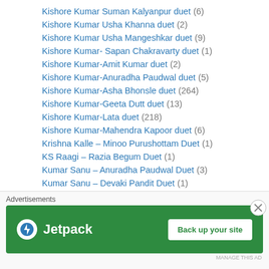Kishore Kumar Suman Kalyanpur duet (6)
Kishore Kumar Usha Khanna duet (2)
Kishore Kumar Usha Mangeshkar duet (9)
Kishore Kumar- Sapan Chakravarty duet (1)
Kishore Kumar-Amit Kumar duet (2)
Kishore Kumar-Anuradha Paudwal duet (5)
Kishore Kumar-Asha Bhonsle duet (264)
Kishore Kumar-Geeta Dutt duet (13)
Kishore Kumar-Lata duet (218)
Kishore Kumar-Mahendra Kapoor duet (6)
Krishna Kalle – Minoo Purushottam Duet (1)
KS Raagi – Razia Begum Duet (1)
Kumar Sanu – Anuradha Paudwal Duet (3)
Kumar Sanu – Devaki Pandit Duet (1)
Kumar Sanu-Alka Yagnik duet (8)
Lata – Adnan Sami Duet (1)
[Figure (screenshot): Jetpack advertisement banner with green background showing Jetpack logo and 'Back up your site' button]